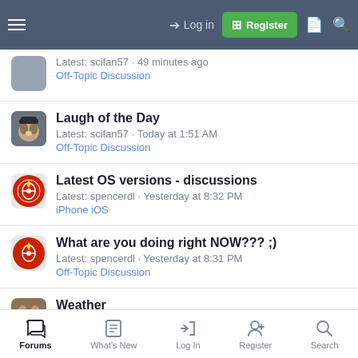Login | Register
Latest: scifan57 · 49 minutes ago
Off-Topic Discussion
Laugh of the Day
Latest: scifan57 · Today at 1:51 AM
Off-Topic Discussion
Latest OS versions - discussions
Latest: spencerdl · Yesterday at 8:32 PM
iPhone iOS
What are you doing right NOW??? ;)
Latest: spencerdl · Yesterday at 8:31 PM
Off-Topic Discussion
Weather
Latest: Ledsteplin · Yesterday at 8:22 PM
Off-Topic Discussion
Forums | What's New | Log In | Register | Search